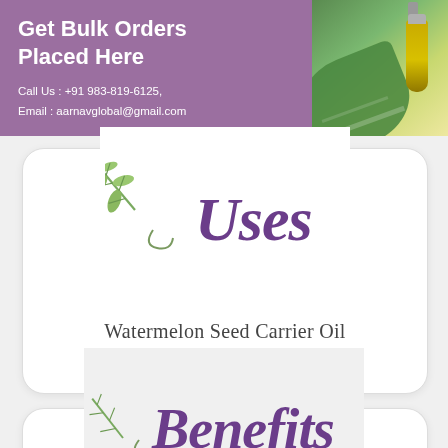[Figure (infographic): Top banner with purple background on left showing 'Get Bulk Orders Placed Here' headline and contact info, and a photo of essential oil dropper bottle with green leaves on right]
Get Bulk Orders Placed Here
Call Us : +91 983-819-6125, Email : aarnavglobal@gmail.com
[Figure (illustration): White card with herb sprigs illustration and cursive purple 'Uses' text, with 'Watermelon Seed Carrier Oil' subtitle]
Uses
Watermelon Seed Carrier Oil
[Figure (illustration): Partial white card with herb sprigs illustration and cursive purple 'Benefits' text]